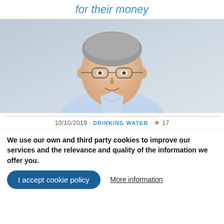for their money
[Figure (photo): Portrait photo of a middle-aged man with grey hair and glasses, wearing a light blue short-sleeve shirt, smiling, seated against a light background.]
10/10/2019 · DRINKING WATER · 👁 17
We use our own and third party cookies to improve our services and the relevance and quality of the information we offer you.
I accept cookie policy
More information